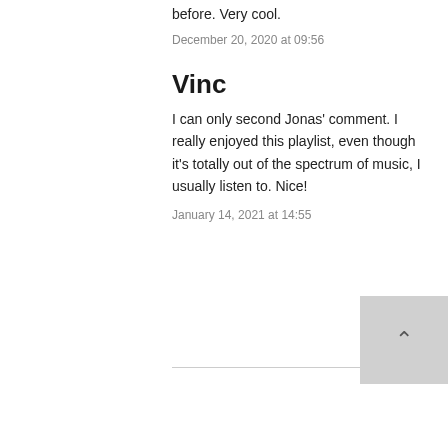before. Very cool.
December 20, 2020 at 09:56
Vinc
I can only second Jonas' comment. I really enjoyed this playlist, even though it's totally out of the spectrum of music, I usually listen to. Nice!
January 14, 2021 at 14:55